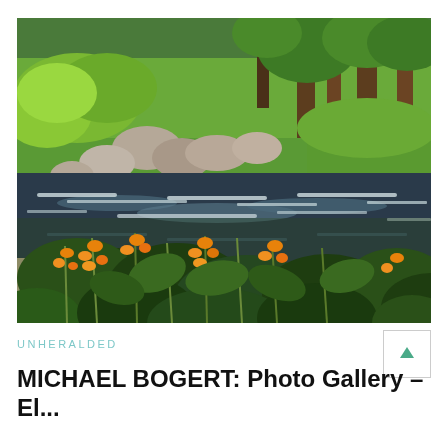[Figure (photo): Outdoor nature photograph showing a rocky stream or creek with flowing white water, surrounded by green grass, large rounded boulders, trees in the background, and orange wildflowers (jewelweed/touch-me-nots) in the foreground with green foliage.]
UNHERALDED
MICHAEL BOGERT: Photo Gallery – El...